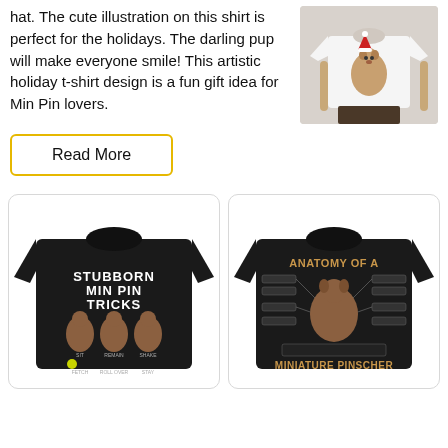hat. The cute illustration on this shirt is perfect for the holidays. The darling pup will make everyone smile! This artistic holiday t-shirt design is a fun gift idea for Min Pin lovers.
[Figure (photo): Man wearing a white t-shirt with a puppy illustration]
[Figure (other): Read More button with yellow/gold border]
[Figure (photo): Black t-shirt with Stubborn Min Pin Tricks design showing three dog silhouettes]
[Figure (photo): Black t-shirt with Anatomy of a Miniature Pinscher design]